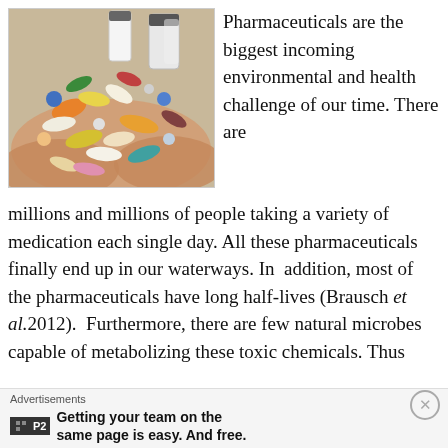[Figure (photo): Hands holding a large collection of colorful pharmaceutical pills, capsules, and tablets of various shapes and sizes, with pill bottles in the background.]
Pharmaceuticals are the biggest incoming environmental and health challenge of our time. There are millions and millions of people taking a variety of medication each single day. All these pharmaceuticals finally end up in our waterways. In addition, most of the pharmaceuticals have long half-lives (Brausch et al.2012). Furthermore, there are few natural microbes capable of metabolizing these toxic chemicals. Thus
Advertisements
Getting your team on the same page is easy. And free.